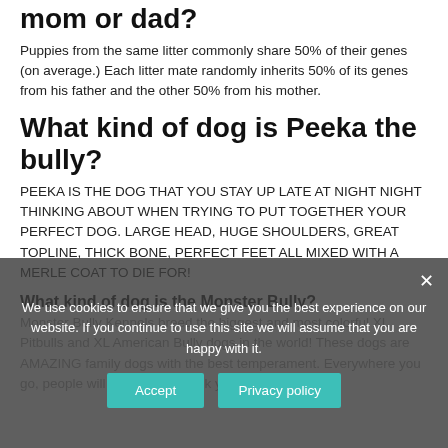mom or dad?
Puppies from the same litter commonly share 50% of their genes (on average.) Each litter mate randomly inherits 50% of its genes from his father and the other 50% from his mother.
What kind of dog is Peeka the bully?
PEEKA IS THE DOG THAT YOU STAY UP LATE AT NIGHT NIGHT THINKING ABOUT WHEN TRYING TO PUT TOGETHER YOUR PERFECT DOG. LARGE HEAD, HUGE SHOULDERS, GREAT TOPLINE, THICK BONE, PERFECT FEET ALL MIXED WITH A MERLE COAT TO DIE FOR!
What kind of dog is the Monster Bully?
Monster Bully Kennels breed the biggest and most colorful XL Pitbulls and XL American Bully dogs in the world! These dogs are AMAZING family dogs with the best temperament. Everywhere you go, people will stop you and ask you about your dog.
We use cookies to ensure that we give you the best experience on our website. If you continue to use this site we will assume that you are happy with it.